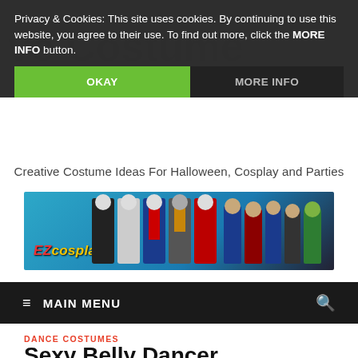Privacy & Cookies: This site uses cookies. By continuing to use this website, you agree to their use. To find out more, click the MORE INFO button.
OKAY
MORE INFO
Creative Costume Ideas For Halloween, Cosplay and Parties
[Figure (other): EZcosplay banner advertisement showing superhero costumes and cosplayers on a blue background]
≡ MAIN MENU
DANCE COSTUMES
Sexy Belly Dancer Costumes Make A Woman